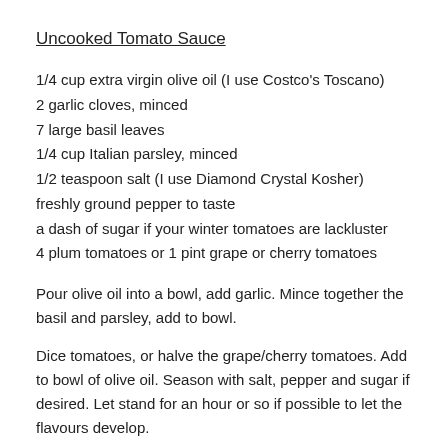Uncooked Tomato Sauce
1/4 cup extra virgin olive oil (I use Costco's Toscano)
2 garlic cloves, minced
7 large basil leaves
1/4 cup Italian parsley, minced
1/2 teaspoon salt (I use Diamond Crystal Kosher)
freshly ground pepper to taste
a dash of sugar if your winter tomatoes are lackluster
4 plum tomatoes or 1 pint grape or cherry tomatoes
Pour olive oil into a bowl, add garlic. Mince together the basil and parsley, add to bowl.
Dice tomatoes, or halve the grape/cherry tomatoes. Add to bowl of olive oil. Season with salt, pepper and sugar if desired. Let stand for an hour or so if possible to let the flavours develop.